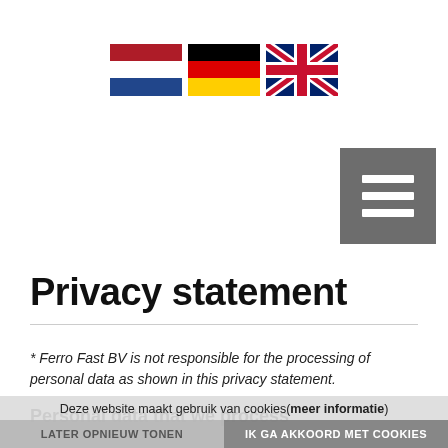[Figure (illustration): Three country flags side by side: Netherlands (red/white/blue horizontal stripes), Germany (black/red/yellow horizontal stripes), United Kingdom (Union Jack)]
[Figure (other): Gray hamburger menu button with three white horizontal lines]
Privacy statement
* Ferro Fast BV is not responsible for the processing of personal data as shown in this privacy statement.
Personal data that we process
Ferro Fast BV processes your personal data because you use our services and / or because you these to us yourself. Below you will find an overview of the personal data that we process:
Deze website maakt gebruik van cookies(meer informatie)
LATER OPNIEUW TONEN    IK GA AKKOORD MET COOKIES